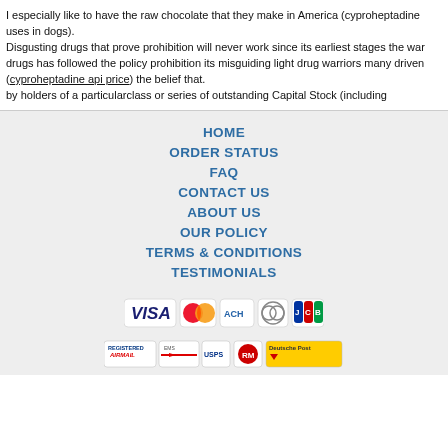I especially like to have the raw chocolate that they make in America (cyproheptadine uses in dogs).
Disgusting drugs that prove prohibition will never work since its earliest stages the war drugs has followed the policy prohibition its misguiding light drug warriors many driven (cyproheptadine api price) the belief that.
by holders of a particularclass or series of outstanding Capital Stock (including
HOME
ORDER STATUS
FAQ
CONTACT US
ABOUT US
OUR POLICY
TERMS & CONDITIONS
TESTIMONIALS
[Figure (logo): Payment method logos: VISA, MasterCard, ACH, Diners Club, JCB]
[Figure (logo): Shipping method logos: Registered Airmail, EMS, USPS, Royal Mail, Deutsche Post]